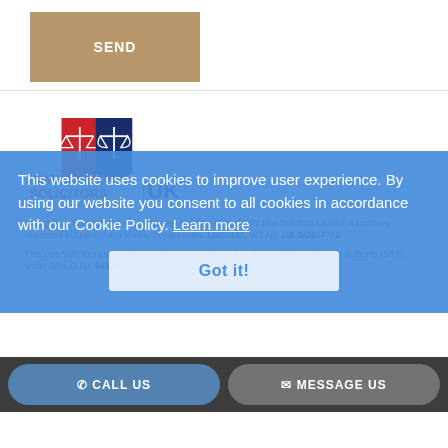[Figure (other): SEND button - tan/gold colored rectangular button with white text]
[Figure (logo): Immigration Solicitors UK logo - red and navy blue scales of justice emblem with text IMMIGRATION SOLICITORS UK]
Immigration Solicitors UK is an authorised trading style of First Law Solicitors Limited, a company registered in England and Wales, Company No. 12057641, VAT No. GB 342607722.
First Law Solicitors Limited are authorised and regulated by the Solicitors Regulation Authority (SRA) under SRA ID No: 669325.
This website uses cookies to improve user experience. By using our website you consent to all cookies in accordance with our Cookie Policy. Learn more
[Figure (other): Got it! button - white/translucent button with blue text on cookie consent banner]
[Figure (other): CALL US and MESSAGE US buttons at bottom of page]